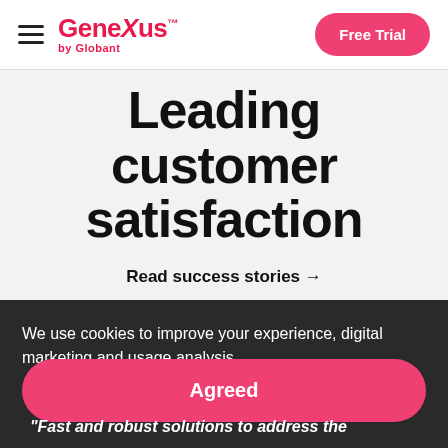GeneXus by Globant — Free Trial
Leading customer satisfaction
Read success stories →
We use cookies to improve your experience, digital marketing and usage analysis.
Privacy Policy →
"Fast and robust solutions to address the
Agreed